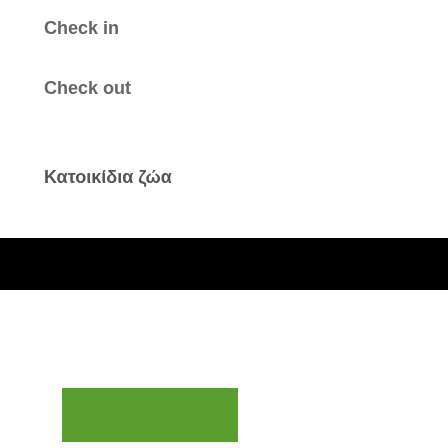Check in
Check out
Κατοικίδια ζώα
[Figure (other): Black horizontal bar divider]
[Figure (other): Green button rectangle]